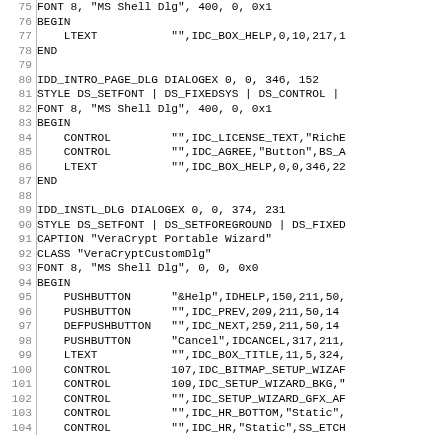Code listing lines 75-104, resource script (RC file) for VeraCrypt installer dialogs. Contains FONT, BEGIN/END blocks, LTEXT, CONTROL, PUSHBUTTON, DEFPUSHBUTTON statements for IDD_INTRO_PAGE_DLG and IDD_INSTL_DLG dialogs.